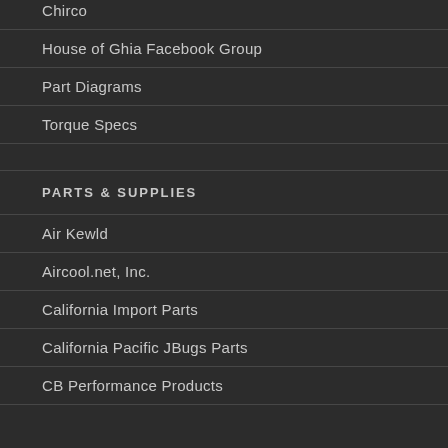Chirco
House of Ghia Facebook Group
Part Diagrams
Torque Specs
PARTS & SUPPLIES
Air Kewld
Aircool.net, Inc.
California Import Parts
California Pacific JBugs Parts
CB Performance Products